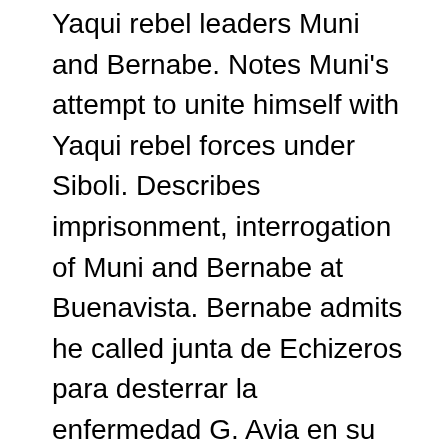Yaqui rebel leaders Muni and Bernabe. Notes Muni's attempt to unite himself with Yaqui rebel forces under Siboli. Describes imprisonment, interrogation of Muni and Bernabe at Buenavista. Bernabe admits he called junta de Echizeros para desterrar la enfermedad G. Avia en su pueblo (Huiribis) (pg.254). Soldiers find Peyote in Muni's Bolsa. Describes Muni's Bernabes's beheading. States Muni yelled no tengo yo la culpa, sino esse governor Viejo dn. Manuel, Mendivil, y Quiroz. describes battle between Yaqui allies of Spaniards from Rahum, Potam against rebels. Notes beheadings of various rebels, including Juan Calixto. States that order now restored, Yaqui pueblos now full of loyal Yaqui subjects. says his pueblos of Potam,